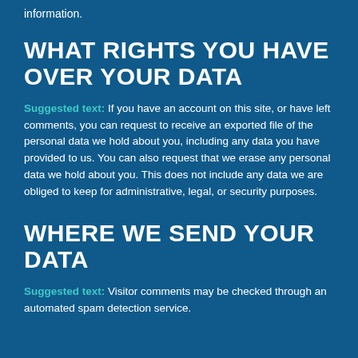information.
WHAT RIGHTS YOU HAVE OVER YOUR DATA
Suggested text: If you have an account on this site, or have left comments, you can request to receive an exported file of the personal data we hold about you, including any data you have provided to us. You can also request that we erase any personal data we hold about you. This does not include any data we are obliged to keep for administrative, legal, or security purposes.
WHERE WE SEND YOUR DATA
Suggested text: Visitor comments may be checked through an automated spam detection service.